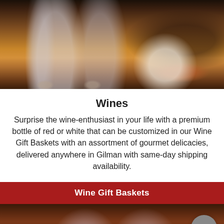[Figure (photo): Dark wine bottles and empty wine glasses on a wooden table with a corkscrew and white cloth napkin in the background.]
Wines
Surprise the wine-enthusiast in your life with a premium bottle of red or white that can be customized in our Wine Gift Baskets with an assortment of gourmet delicacies, delivered anywhere in Gilman with same-day shipping availability.
Wine Gift Baskets
[Figure (photo): Two large red wine glasses filled with dark red wine, photographed from below against a warm blurred background.]